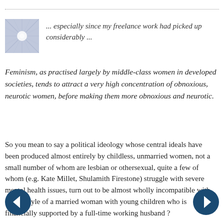... especially since my freelance work had picked up considerably ...
Feminism, as practised largely by middle-class women in developed societies, tends to attract a very high concentration of obnoxious, neurotic women, before making them more obnoxious and neurotic.
So you mean to say a political ideology whose central ideals have been produced almost entirely by childless, unmarried women, not a small number of whom are lesbian or othersexual, quite a few of whom (e.g. Kate Millet, Shulamith Firestone) struggle with severe mental health issues, turn out to be almost wholly incompatible with the lifestyle of a married woman with young children who is financially supported by a full-time working husband ?